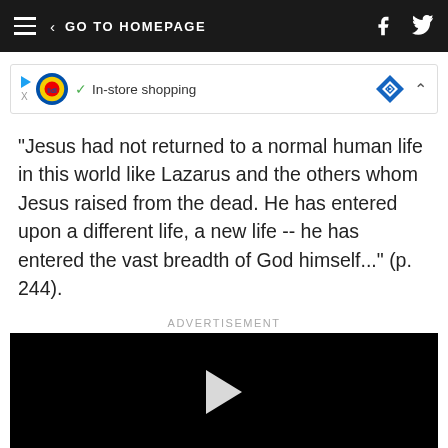GO TO HOMEPAGE
[Figure (other): Lidl advertisement banner with In-store shopping text and navigation arrow icon]
"Jesus had not returned to a normal human life in this world like Lazarus and the others whom Jesus raised from the dead. He has entered upon a different life, a new life -- he has entered the vast breadth of God himself..." (p. 244).
ADVERTISEMENT
[Figure (other): Black video player with white play button triangle in center]